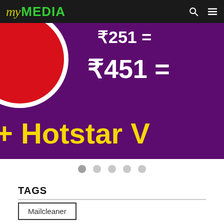My MEDIA
[Figure (photo): Promotional banner with purple background showing prices ₹251 and ₹451 with a red circle/logo on the left and yellow text '+ Hotstar V' partially visible]
● ● ● ● ● (slider navigation dots)
TAGS
Mailcleaner